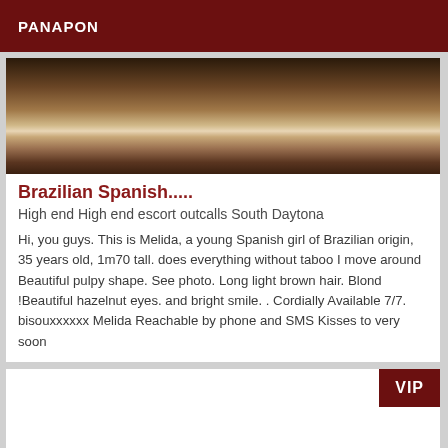PANAPON
[Figure (photo): Photo showing legs/feet in heels on a wooden floor surface]
Brazilian Spanish.....
High end High end escort outcalls South Daytona
Hi, you guys. This is Melida, a young Spanish girl of Brazilian origin, 35 years old, 1m70 tall. does everything without taboo I move around Beautiful pulpy shape. See photo. Long light brown hair. Blond !Beautiful hazelnut eyes. and bright smile. . Cordially Available 7/7. bisouxxxxxix Melida Reachable by phone and SMS Kisses to very soon
VIP